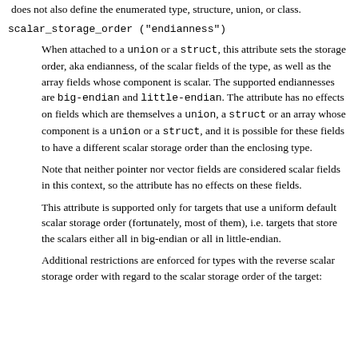does not also define the enumerated type, structure, union, or class.
scalar_storage_order ("endianness")
When attached to a union or a struct, this attribute sets the storage order, aka endianness, of the scalar fields of the type, as well as the array fields whose component is scalar. The supported endiannesses are big-endian and little-endian. The attribute has no effects on fields which are themselves a union, a struct or an array whose component is a union or a struct, and it is possible for these fields to have a different scalar storage order than the enclosing type.
Note that neither pointer nor vector fields are considered scalar fields in this context, so the attribute has no effects on these fields.
This attribute is supported only for targets that use a uniform default scalar storage order (fortunately, most of them), i.e. targets that store the scalars either all in big-endian or all in little-endian.
Additional restrictions are enforced for types with the reverse scalar storage order with regard to the scalar storage order of the target: